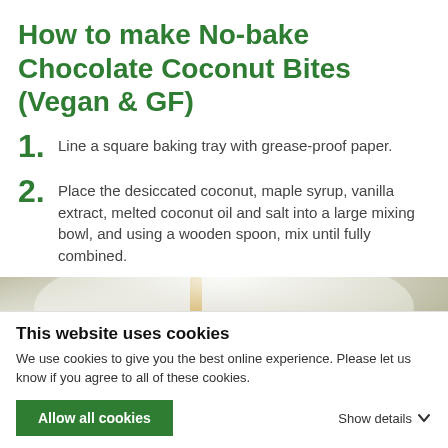How to make No-bake Chocolate Coconut Bites (Vegan & GF)
1. Line a square baking tray with grease-proof paper.
2. Place the desiccated coconut, maple syrup, vanilla extract, melted coconut oil and salt into a large mixing bowl, and using a wooden spoon, mix until fully combined.
[Figure (photo): Close-up photo of desiccated coconut mixture being mixed in a bowl with a wooden spoon, top-down view with misted/blurred edges]
This website uses cookies
We use cookies to give you the best online experience. Please let us know if you agree to all of these cookies.
Allow all cookies
Show details